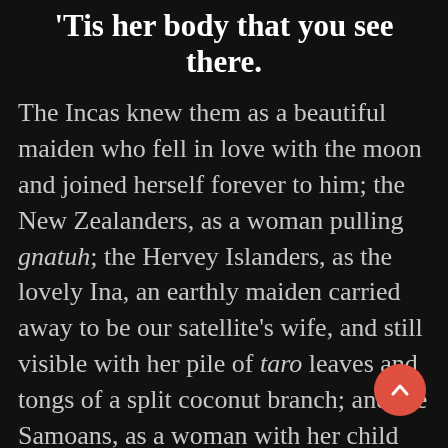'Tis her body that you see there.
The Incas knew them as a beautiful maiden who fell in love with the moon and joined herself forever to him; the New Zealanders, as a woman pulling gnatuh; the Hervey Islanders, as the lovely Ina, an earthly maiden carried away to be our satellite's wife, and still visible with her pile of taro leaves and tongs of a split coconut branch; and the Samoans, as a woman with her child and the mallet with which she is pounding out sheets of the native paper cloth. So all these people long ago anticipated pretty